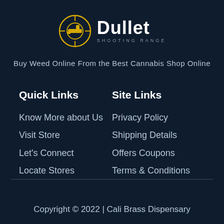[Figure (logo): Dullet Shooting Range logo — circular crosshair/target icon in gold/yellow with a hand/gun silhouette, next to bold white text 'Dullet' and subtitle 'SHOOTING RANGE']
Buy Weed Online From the Best Cannabis Shop Online
Quick Links
Site Links
Know More about Us
Privacy Policy
Visit Store
Shipping Details
Let's Connect
Offers Coupons
Locate Stores
Terms & Conditions
Copyright © 2022 | Cali Brass Dispensary